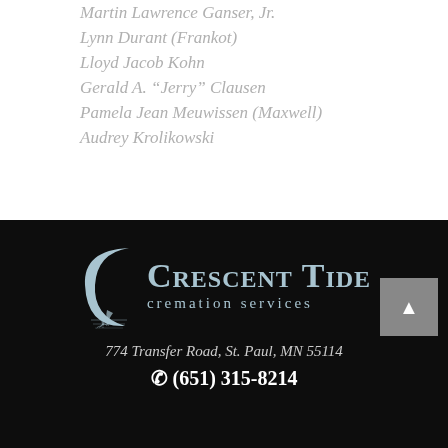Martin Lawrence Ganser, Jr.
Lynn Durant (Frankot)
Lloyd Jacob Kohn
Gerald A. “Jerry” Clausen
Pamela Jean Meuwissen (Maxwell)
Audrey Krolikowski
[Figure (logo): Crescent Tide cremation services logo with crescent moon and feather graphic in light blue on dark background]
774 Transfer Road, St. Paul, MN 55114
(651) 315-8214